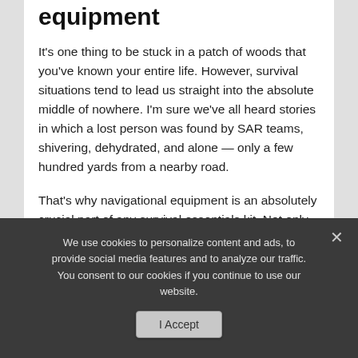equipment
It's one thing to be stuck in a patch of woods that you've known your entire life. However, survival situations tend to lead us straight into the absolute middle of nowhere. I'm sure we've all heard stories in which a lost person was found by SAR teams, shivering, dehydrated, and alone — only a few hundred yards from a nearby road.
That's why navigational equipment is an absolutely crucial part of any survival essentials kit. Not only do you need the means to travel, but you need to know where you're going. Otherwise, traveling only
We use cookies to personalize content and ads, to provide social media features and to analyze our traffic. You consent to our cookies if you continue to use our website.